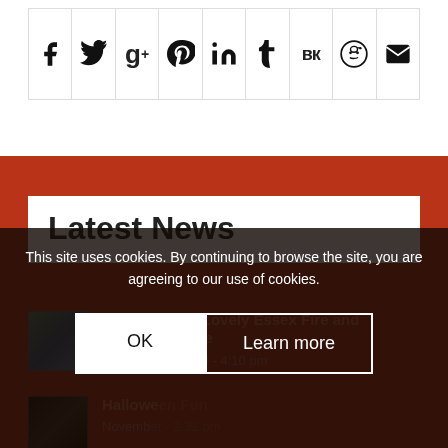[Figure (other): Social sharing icons bar: facebook, twitter, google+, pinterest, linkedin, tumblr, vk, reddit, email]
Latest News
Visit from the Lovely Essex Fire and Rescue Service
December 5, 2019 - 4:10 pm
Halloween Fun
November - 2:31 pm
This site uses cookies. By continuing to browse the site, you are agreeing to our use of cookies.
OK
Learn more